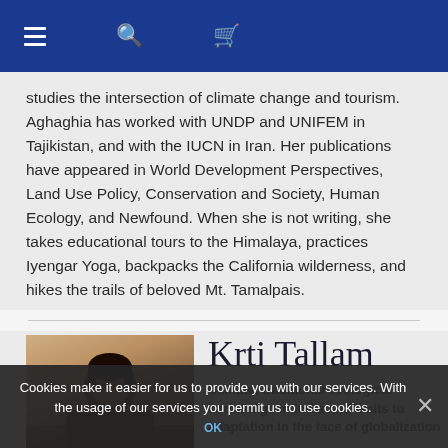Navigation bar with menu, search, and cart icons
studies the intersection of climate change and tourism. Aghaghia has worked with UNDP and UNIFEM in Tajikistan, and with the IUCN in Iran. Her publications have appeared in World Development Perspectives, Land Use Policy, Conservation and Society, Human Ecology, and Newfound. When she is not writing, she takes educational tours to the Himalaya, practices Iyengar Yoga, backpacks the California wilderness, and hikes the trails of beloved Mt. Tamalpais.
[Figure (photo): Profile photo of Krti Tallam, a woman with dark hair]
Krti Tallam
Climate, traditional ecological knowledge in India and limits to adaptation in the face of globalization
Cookies make it easier for us to provide you with our services. With the usage of our services you permit us to use cookies.